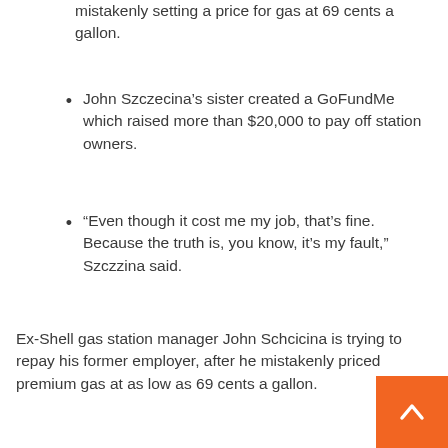mistakenly setting a price for gas at 69 cents a gallon.
John Szczecina’s sister created a GoFundMe which raised more than $20,000 to pay off station owners.
“Even though it cost me my job, that’s fine. Because the truth is, you know, it’s my fault,” Szczina said.
Ex-Shell gas station manager John Schcicina is trying to repay his former employer, after he mistakenly priced premium gas at as low as 69 cents a gallon.
Szczecinna Shell Station in Rancho CordovaAnd the CaliforniaAnd the Customers sank when they mis a decimal point of $6.99 a gallon of premium gas 69 cents, According to CBS Sacrament